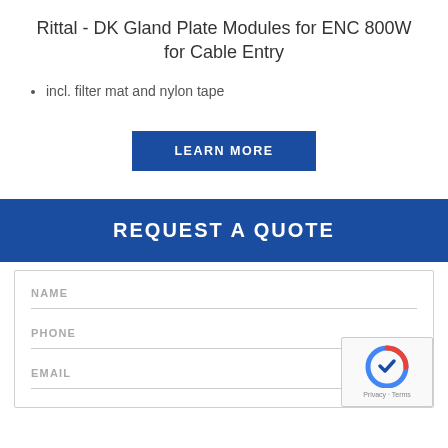Rittal - DK Gland Plate Modules for ENC 800W for Cable Entry
incl. filter mat and nylon tape
LEARN MORE
REQUEST A QUOTE
NAME
PHONE
EMAIL